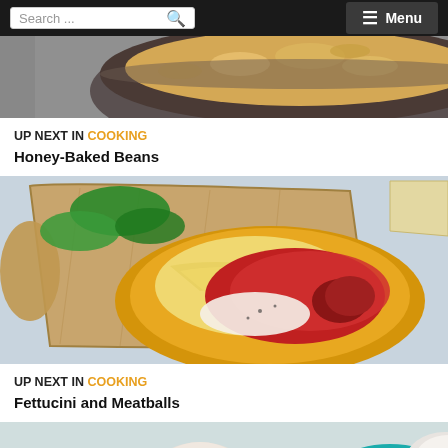Search ... Menu
[Figure (photo): Top-down view of a dark pot or bowl containing pasta and beans (Honey-Baked Beans dish), cropped at top of page]
UP NEXT IN COOKING
Honey-Baked Beans
[Figure (photo): Spaghetti and meatballs with red tomato sauce and grated parmesan on a yellow plate, placed on a wooden cutting board with fresh basil leaves, light blue background]
UP NEXT IN COOKING
Fettucini and Meatballs
[Figure (photo): Partial view of teal/green bowls and a small bowl with ingredients on a light grey surface, cut off at bottom of page]